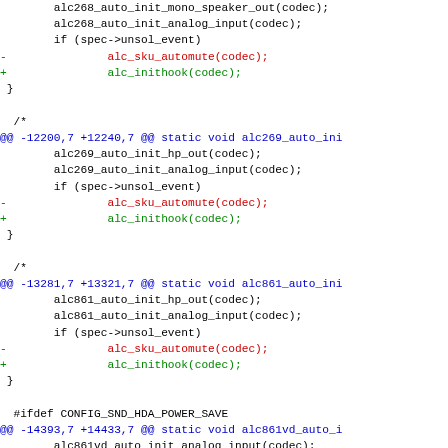Code diff showing changes to audio codec initialization functions in Linux kernel source, replacing alc_sku_automute(codec) with alc_inithook(codec) across multiple codec handlers.